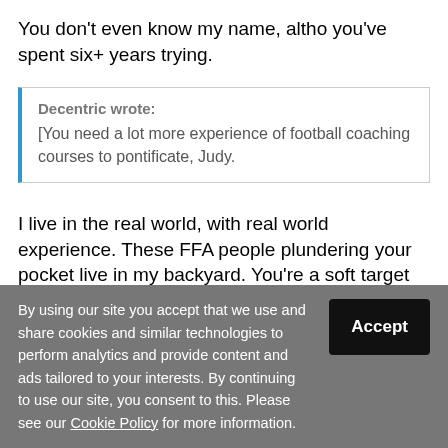You don't even know my name, altho you've spent six+ years trying.
Decentric wrote: [You need a lot more experience of football coaching courses to pontificate, Judy.
I live in the real world, with real world experience. These FFA people plundering your pocket live in my backyard. You're a soft target for these blokes, decentric.
By using our site you accept that we use and share cookies and similar technologies to perform analytics and provide content and ads tailored to your interests. By continuing to use our site, you consent to this. Please see our Cookie Policy for more information.